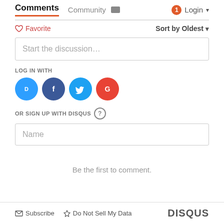Comments  Community  Login
♡ Favorite    Sort by Oldest
Start the discussion…
LOG IN WITH
[Figure (illustration): Social login icons: Disqus (blue), Facebook (dark blue), Twitter (light blue), Google (red)]
OR SIGN UP WITH DISQUS ?
Name
Be the first to comment.
Subscribe   Do Not Sell My Data   DISQUS